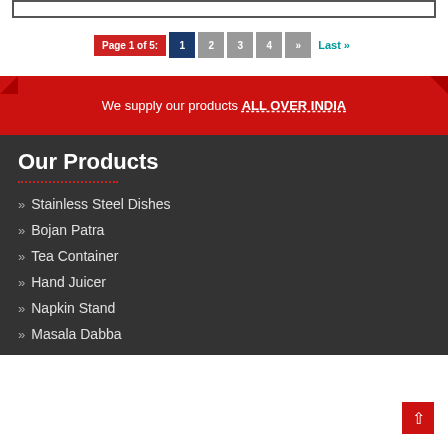Page 1 of 5: 1 2 3 4 » Last »
We supply our products ALL OVER INDIA
Our Products
» Stainless Steel Dishes
» Bojan Patra
» Tea Container
» Hand Juicer
» Napkin Stand
» Masala Dabba